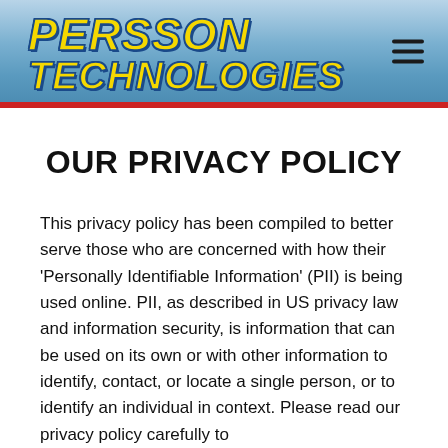[Figure (logo): Persson Technologies logo with bold italic yellow text on blue gradient background header]
OUR PRIVACY POLICY
This privacy policy has been compiled to better serve those who are concerned with how their 'Personally Identifiable Information' (PII) is being used online. PII, as described in US privacy law and information security, is information that can be used on its own or with other information to identify, contact, or locate a single person, or to identify an individual in context. Please read our privacy policy carefully to